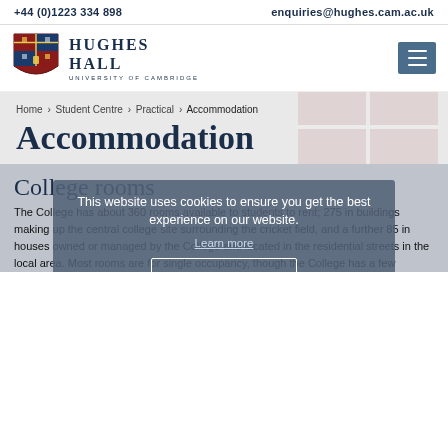+44 (0)1223 334 898    enquiries@hughes.cam.ac.uk
[Figure (logo): Hughes Hall University of Cambridge logo with shield crest]
Home > Student Centre > Practical > Accommodation
Accommodation
College rooms
This website uses cookies to ensure you get the best experience on our website. Learn more ACCEPT & CLOSE
The College has about 360 rooms available to students to rent; 275 in buildings making up the central college site surrounding the cricket field, and a further 85 in houses owned or managed by the College and located in the residential streets in the local area. Most rooms are for single occupancy, though the College has a few